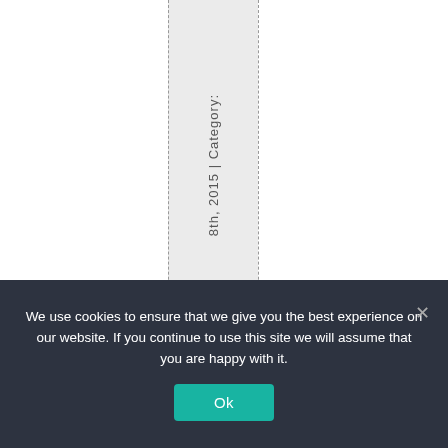[Figure (other): Partial view of a table with a shaded column containing rotated text reading '8th, 2015 | Category:' with dashed vertical column borders on either side.]
We use cookies to ensure that we give you the best experience on our website. If you continue to use this site we will assume that you are happy with it.